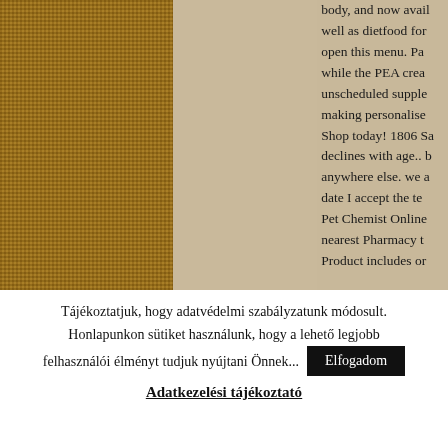[Figure (photo): Burlap/woven fabric texture in brown/tan tones on the left side]
[Figure (illustration): White floral decorative vine/flower border on beige background in the center column]
body, and now avail well as dietfood for open this menu. Pa while the PEA crea unscheduled supple making personalise Shop today! 1806 Sa declines with age.. b anywhere else. we a date I accept the te Pet Chemist Online nearest Pharmacy t Product includes or
Tájékoztatjuk, hogy adatvédelmi szabályzatunk módosult. Honlapunkon sütiket használunk, hogy a lehető legjobb felhasználói élményt tudjuk nyújtani Önnek...
Elfogadom
Adatkezelési tájékoztató